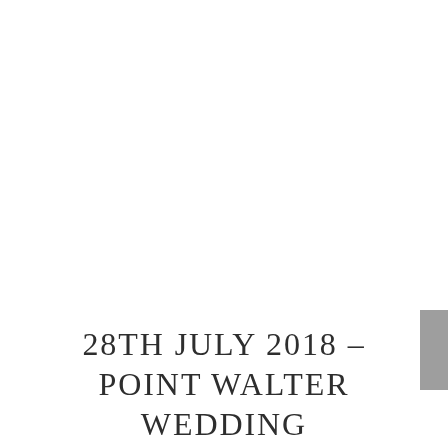28TH JULY 2018 – POINT WALTER WEDDING